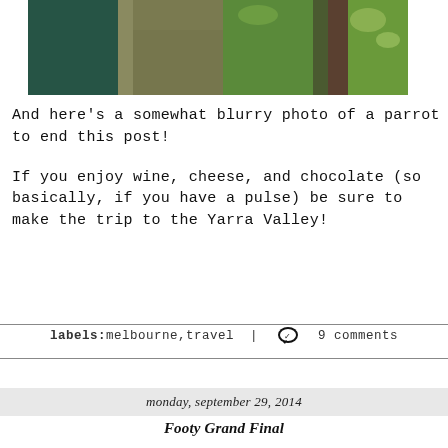[Figure (photo): Partial photo showing green and brown vertical panels or wooden posts with foliage/grass in the background, likely a parrot photo that is cropped at top]
And here's a somewhat blurry photo of a parrot to end this post!
If you enjoy wine, cheese, and chocolate (so basically, if you have a pulse) be sure to make the trip to the Yarra Valley!
labels:melbourne,travel | 9 comments
monday, september 29, 2014
Footy Grand Final